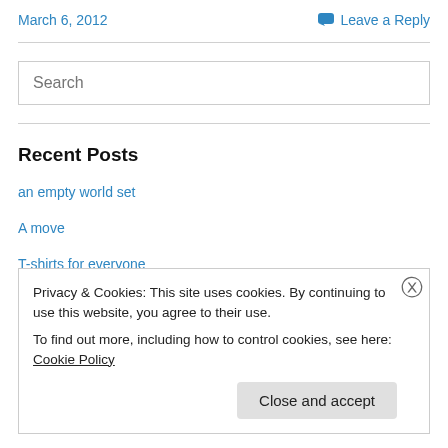March 6, 2012
Leave a Reply
Search
Recent Posts
an empty world set
A move
T-shirts for everyone
Privacy & Cookies: This site uses cookies. By continuing to use this website, you agree to their use.
To find out more, including how to control cookies, see here: Cookie Policy
Close and accept